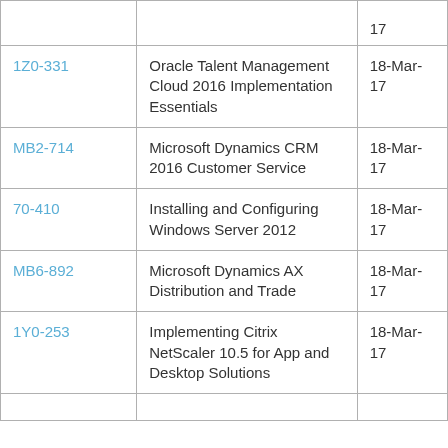|  |  | 17 |
| 1Z0-331 | Oracle Talent Management Cloud 2016 Implementation Essentials | 18-Mar-17 |
| MB2-714 | Microsoft Dynamics CRM 2016 Customer Service | 18-Mar-17 |
| 70-410 | Installing and Configuring Windows Server 2012 | 18-Mar-17 |
| MB6-892 | Microsoft Dynamics AX Distribution and Trade | 18-Mar-17 |
| 1Y0-253 | Implementing Citrix NetScaler 10.5 for App and Desktop Solutions | 18-Mar-17 |
|  |  |  |